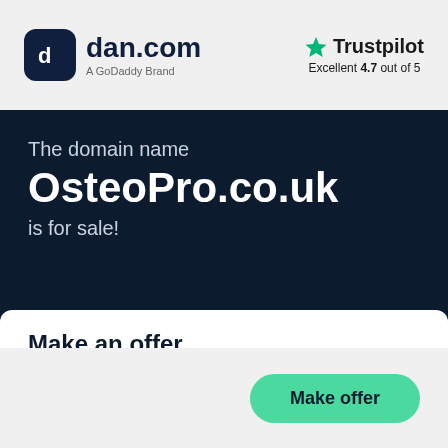[Figure (logo): dan.com logo with dark rounded square icon and text 'dan.com' with subtitle 'A GoDaddy Brand']
[Figure (logo): Trustpilot logo with green star and text 'Trustpilot', rating 'Excellent 4.7 out of 5']
The domain name OsteoPro.co.uk is for sale!
Make an offer
Make offer